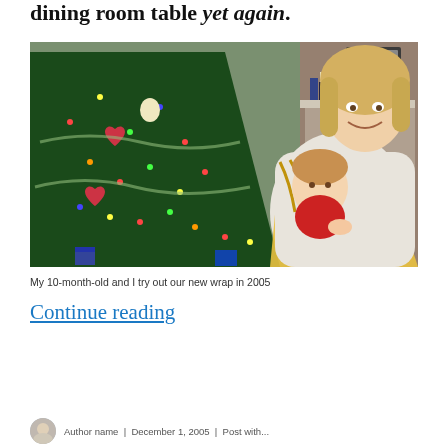dining room table yet again.
[Figure (photo): A smiling blonde woman holding a baby approximately 10 months old in a yellow striped wrap carrier, standing in front of a decorated Christmas tree. A fireplace mantel is visible in the background.]
My 10-month-old and I try out our new wrap in 2005
Continue reading
Author name | December 1, 2005 | Post with...